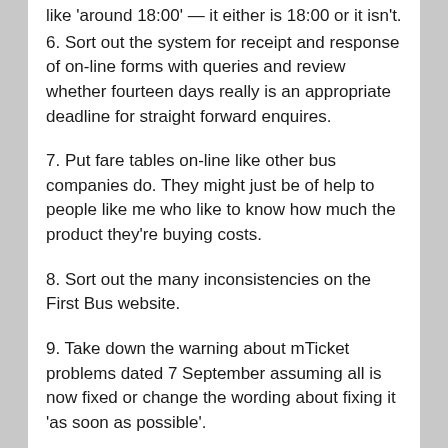like 'around 18:00' — it either is 18:00 or it isn't.
6. Sort out the system for receipt and response of on-line forms with queries and review whether fourteen days really is an appropriate deadline for straight forward enquires.
7. Put fare tables on-line like other bus companies do. They might just be of help to people like me who like to know how much the product they're buying costs.
8. Sort out the many inconsistencies on the First Bus website.
9. Take down the warning about mTicket problems dated 7 September assuming all is now fixed or change the wording about fixing it 'as soon as possible'.